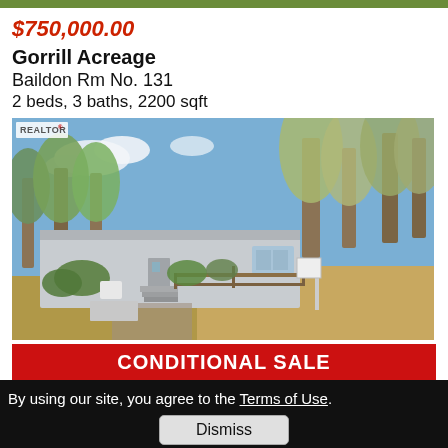$750,000.00
Gorrill Acreage
Baildon Rm No. 131
2 beds, 3 baths, 2200 sqft
[Figure (photo): Exterior photo of a single-storey ranch house with trees, wooden fence, and gravel driveway. REALTOR badge in top-left corner.]
CONDITIONAL SALE
By using our site, you agree to the Terms of Use.
Dismiss